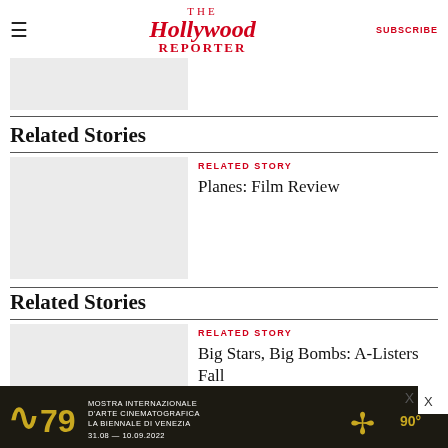The Hollywood Reporter | SUBSCRIBE
[Figure (photo): Top image placeholder (gray rectangle)]
Related Stories
[Figure (photo): Story thumbnail placeholder for Planes: Film Review]
RELATED STORY
Planes: Film Review
Related Stories
[Figure (photo): Story thumbnail placeholder for Big Stars, Big Bombs: A-Listers Fall...]
RELATED STORY
Big Stars, Big Bombs: A-Listers Fall
[Figure (photo): Advertisement: Mostra Internazionale D'Arte Cinematografica La Biennale Di Venezia 79 — 31.08-10.09.2022, 90°]